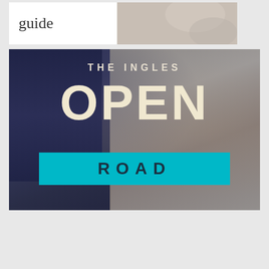[Figure (photo): Top banner with 'guide' text on white background and a photo of a person outdoors]
[Figure (infographic): The Ingles Open Road banner with dark blue background, large white text 'OPEN' and teal bar with 'ROAD']
[Figure (infographic): Red banner with white bold text: SIGN UP FOR OUR NEWSLETTER CLICK HERE]